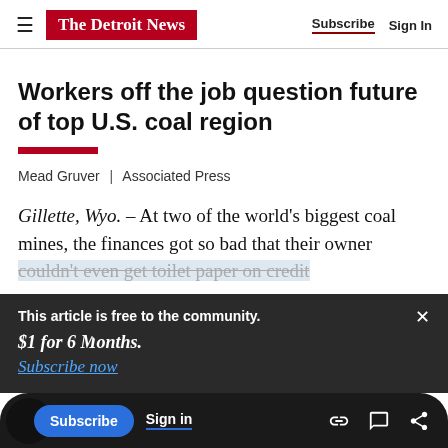The Detroit News | Subscribe | Sign In
Workers off the job question future of top U.S. coal region
Mead Gruver | Associated Press
Gillette, Wyo. – At two of the world's biggest coal mines, the finances got so bad that their owner couldn't even get toilet paper on credit
This article is free to the community. $1 for 6 Months. Subscribe now